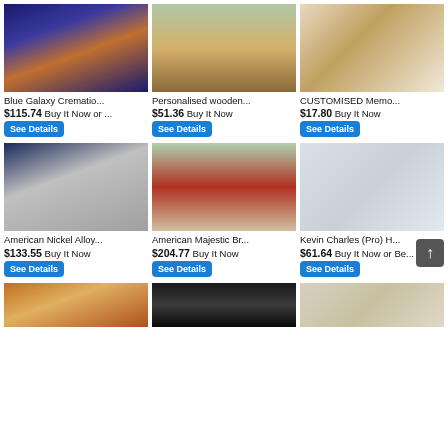[Figure (photo): Blue Galaxy Cremation urn with space/nebula design]
Blue Galaxy Crematio...
$115.74 Buy It Now or ...
See Details
[Figure (photo): Personalised wooden memorial wing sign with flowers]
Personalised wooden...
$51.36 Buy It Now
See Details
[Figure (photo): CUSTOMISED Memorial framed print with bird and flowers]
CUSTOMISED Memo...
$17.80 Buy It Now
See Details
[Figure (photo): American Nickel Alloy urn with velvet pouch]
American Nickel Alloy...
$133.55 Buy It Now
See Details
[Figure (photo): American Majestic Brass red cremation urn with flowers]
American Majestic Br...
$204.77 Buy It Now
See Details
[Figure (photo): Kevin Charles Pro H... official document/certificate]
Kevin Charles (Pro) H...
$61.64 Buy It Now or Be...
See Details
[Figure (photo): Food/pyramid item partial view]
[Figure (photo): Black urn partially visible]
[Figure (photo): Document/paper partially visible]